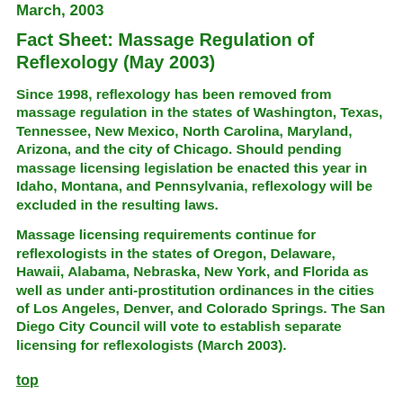March, 2003
Fact Sheet: Massage Regulation of Reflexology (May 2003)
Since 1998, reflexology has been removed from massage regulation in the states of Washington, Texas, Tennessee, New Mexico, North Carolina, Maryland, Arizona, and the city of Chicago. Should pending massage licensing legislation be enacted this year in Idaho, Montana, and Pennsylvania, reflexology will be excluded in the resulting laws.
Massage licensing requirements continue for reflexologists in the states of Oregon, Delaware, Hawaii, Alabama, Nebraska, New York, and Florida as well as under anti-prostitution ordinances in the cities of Los Angeles, Denver, and Colorado Springs. The San Diego City Council will vote to establish separate licensing for reflexologists (March 2003).
top
Reflexology is Clearly Different than Massage
Reflexology is clearly different from massage in its origins, technique applications, safety issues, and assessment. The